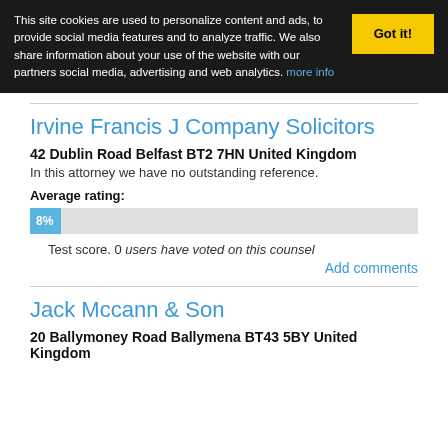This site cookies are used to personalize content and ads, to provide social media features and to analyze traffic. We also share information about your use of the website with our partners social media, advertising and web analytics. more info
Irvine Francis J Company Solicitors
42 Dublin Road Belfast BT2 7HN United Kingdom
In this attorney we have no outstanding reference.
Average rating:
[Figure (bar-chart): Average rating bar]
Test score. 0 users have voted on this counsel
Add comments
Jack Mccann & Son
20 Ballymoney Road Ballymena BT43 5BY United Kingdom